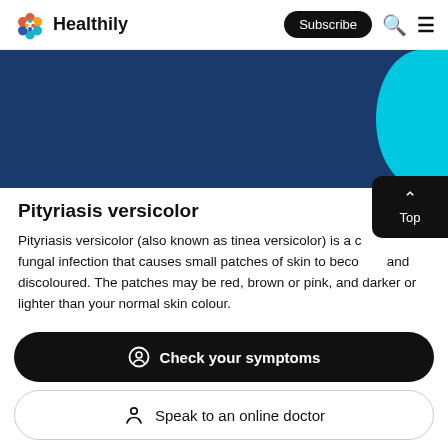Healthily — Subscribe
[Figure (illustration): Dark blue hero banner with cyan curved accent on the right side]
Pityriasis versicolor
Pityriasis versicolor (also known as tinea versicolor) is a common fungal infection that causes small patches of skin to become scaly and discoloured. The patches may be red, brown or pink, and darker or lighter than your normal skin colour.
Check your symptoms
Speak to an online doctor